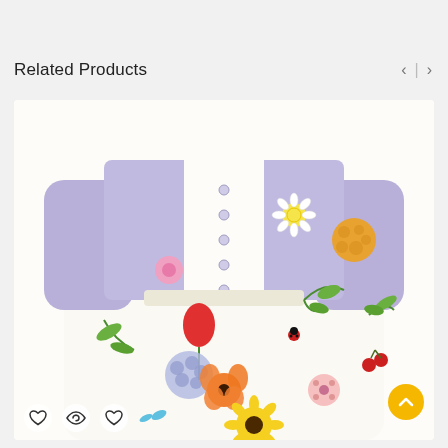Related Products
[Figure (photo): Baby/toddler floral dress with lavender cardigan overlay. The dress features colorful garden flowers, sunflowers, hydrangeas, poppies, and botanical elements on a white background. The lavender cardigan has small buttons down the center front.]
[Figure (infographic): Bottom overlay icons: heart (wishlist), eye (quick view), heart (like). Yellow circular scroll-to-top button with upward chevron arrow at bottom right.]